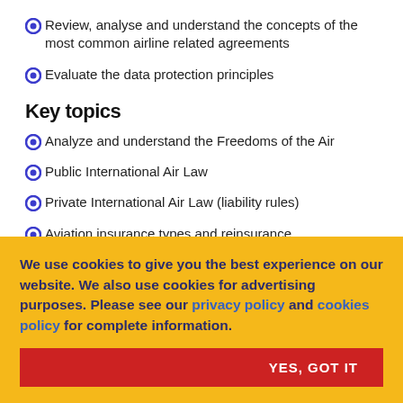Review, analyse and understand the concepts of the most common airline related agreements
Evaluate the data protection principles
Key topics
Analyze and understand the Freedoms of the Air
Public International Air Law
Private International Air Law (liability rules)
Aviation insurance types and reinsurance
Convention for the protection of individuals with regard to the
We use cookies to give you the best experience on our website. We also use cookies for advertising purposes. Please see our privacy policy and cookies policy for complete information.
YES, GOT IT